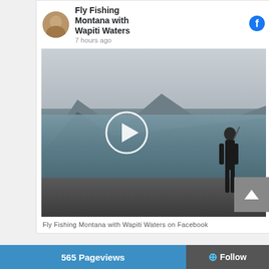Fly Fishing Montana with Wapiti Waters
7 hours ago
[Figure (photo): Video thumbnail showing a person fly fishing on a rocky shoreline with mountains and water in the background. A white circle play button is overlaid in the center.]
Fly Fishing Montana with Wapiti Waters on Facebook
565 Pageviews